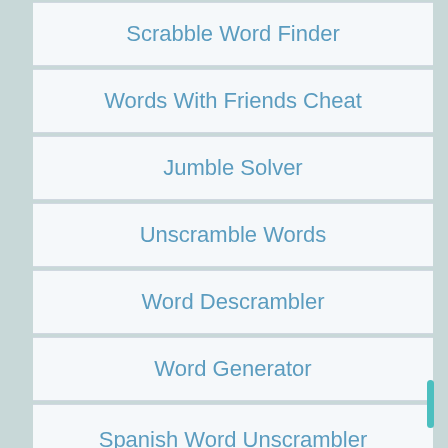Scrabble Word Finder
Words With Friends Cheat
Jumble Solver
Unscramble Words
Word Descrambler
Word Generator
Spanish Word Unscrambler
German Word Unscrambler
French Word Unscrambler